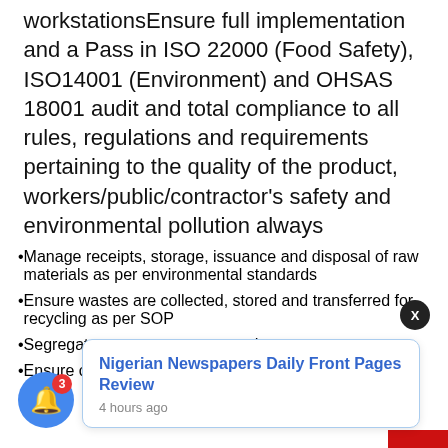workstationsEnsure full implementation and a Pass in ISO 22000 (Food Safety), ISO14001 (Environment) and OHSAS 18001 audit and total compliance to all rules, regulations and requirements pertaining to the quality of the product, workers/public/contractor's safety and environmental pollution always
Manage receipts, storage, issuance and disposal of raw materials as per environmental standards
Ensure wastes are collected, stored and transferred for recycling as per SOP
Segregate [products]
Ensure charging of forklifts are done in
[Figure (screenshot): Notification popup showing 'Nigerian Newspapers Daily Front Pages Review' posted 4 hours ago, with a blue bell icon with badge showing 3, and a dark close button with X]